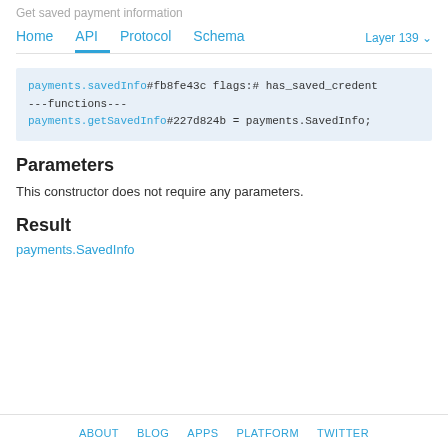Get saved payment information
Home  API  Protocol  Schema  Layer 139
payments.savedInfo#fb8fe43c flags:# has_saved_cred
---functions---
payments.getSavedInfo#227d824b = payments.SavedInfo;
Parameters
This constructor does not require any parameters.
Result
payments.SavedInfo
ABOUT  BLOG  APPS  PLATFORM  TWITTER